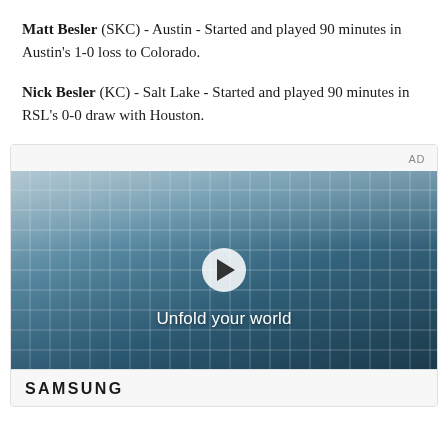Matt Besler (SKC) - Austin - Started and played 90 minutes in Austin's 1-0 loss to Colorado.
Nick Besler (KC) - Salt Lake - Started and played 90 minutes in RSL's 0-0 draw with Houston.
[Figure (other): Advertisement video player showing a young man in a denim jacket standing in a cafeteria-like setting with blue tile windows behind him. Text overlay reads 'Unfold your world' with a play button in the center. Samsung branding at the bottom.]